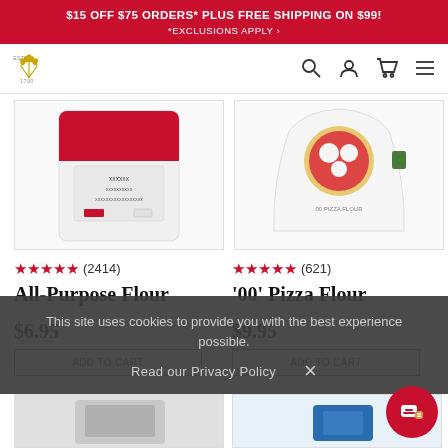$15 OFF $75 ORDERS* PLUS FREE SHIPPING ON $99! *EXCLUSIONS APPLY
[Figure (logo): King Arthur Baking Company logo — wheat crown, ESTD 1790]
[Figure (photo): All-Purpose Flour product bag (red and white packaging)]
[Figure (photo): '00' Pizza Flour product bag (white packaging with pizza image)]
★★★★★ (2414)
All-Purpose Flour
$6.95
★★★★★ (621)
'00' Pizza Flour
$9.95
This site uses cookies to provide you with the best experience possible.
Read our Privacy Policy
[Figure (photo): Bottom left product image (partially visible)]
[Figure (photo): Bottom right product image (partially visible, blue packaging)]
[Figure (other): Chat support button (red circle with bread/chat icon)]